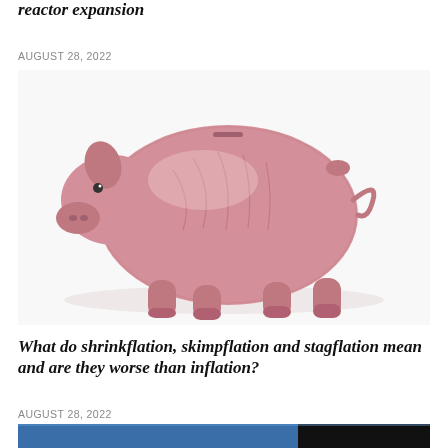reactor expansion
AUGUST 28, 2022
[Figure (photo): A pink ceramic or plastic pig figurine (resembling a piggy bank without a plug) standing on a white reflective surface, viewed from the side. The pig has visible folds/wrinkles on its body.]
What do shrinkflation, skimpflation and stagflation mean and are they worse than inflation?
AUGUST 28, 2022
[Figure (photo): Partial view of a photo with blue tones at the bottom of the page, appears to be a news article image.]